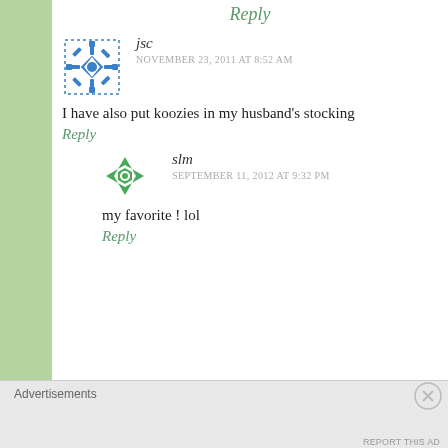Reply
[Figure (illustration): Blue snowflake/quilt pattern avatar for user jsc]
jsc
NOVEMBER 23, 2011 AT 8:52 AM
I have also put koozies in my husband’s stocking
Reply
[Figure (illustration): Green geometric avatar for user slm]
slm
SEPTEMBER 11, 2012 AT 9:32 PM
my favorite ! lol
Reply
Advertisements